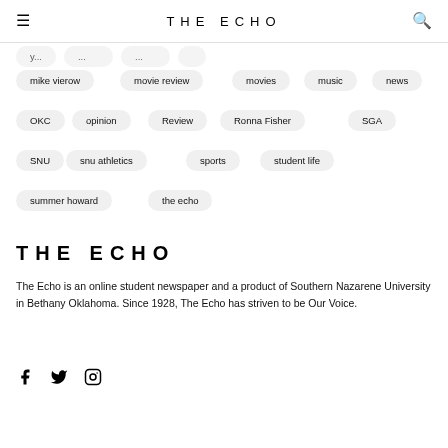THE ECHO
mike vierow
movie review
movies
music
news
OKC
opinion
Review
Ronna Fisher
SGA
SNU
snu athletics
sports
student life
summer howard
the echo
THE ECHO
The Echo is an online student newspaper and a product of Southern Nazarene University in Bethany Oklahoma. Since 1928, The Echo has striven to be Our Voice.
[Figure (other): Social media icons: Facebook, Twitter, Instagram]